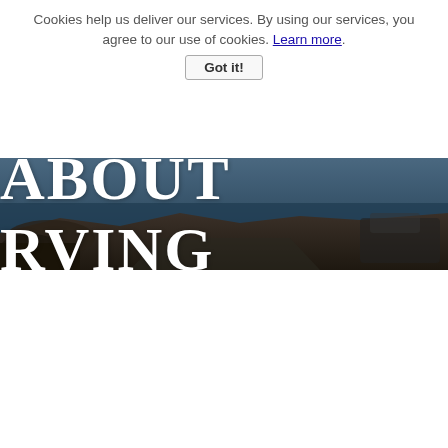Cookies help us deliver our services. By using our services, you agree to our use of cookies. Learn more.
Got it!
[Figure (photo): Outdoor scenic photo with rocky coastline and road, with large white text 'ABOUT RVING' overlaid in a serif bold font]